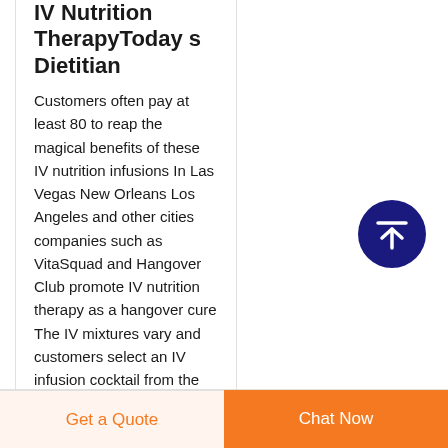IV Nutrition TherapyToday s Dietitian
Customers often pay at least 80 to reap the magical benefits of these IV nutrition infusions In Las Vegas New Orleans Los Angeles and other cities companies such as VitaSquad and Hangover Club promote IV nutrition therapy as a hangover cure The IV mixtures vary and customers select an IV infusion cocktail from the menu
[Figure (other): Dark blue circular scroll-to-top button with white upward arrow icon]
Get a Quote   Chat Now